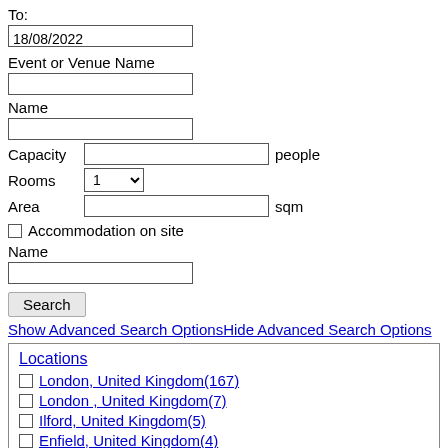To:
18/08/2022
Event or Venue Name
Name
Capacity  people
Rooms  1
Area  sqm
Accommodation on site
Name
Search
Show Advanced Search OptionsHide Advanced Search Options
Locations
London, United Kingdom(167)
London , United Kingdom(7)
Ilford, United Kingdom(5)
Enfield, United Kingdom(4)
Croydon, United Kingdom(3)
tower hamlets , United Kingdom(2)
Hounslow, United Kingdom(2)